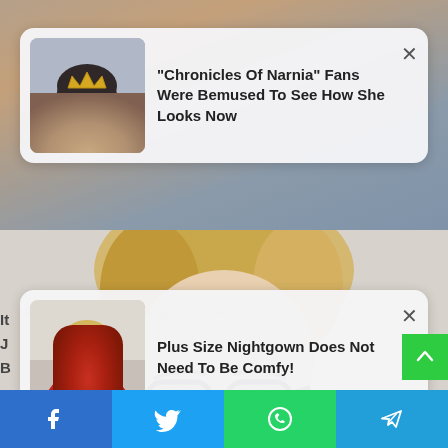[Figure (photo): Notification card 1: thumbnail of young girl with crown/tiara, headline text about Chronicles of Narnia]
"Chronicles Of Narnia" Fans Were Bemused To See How She Looks Now
[Figure (photo): Notification card 2: thumbnail of woman in red dress, headline text about Plus Size Nightgown]
Plus Size Nightgown Does Not Need To Be Comfy!
[Figure (photo): Close-up portrait photo of blonde woman wearing dark-rimmed glasses, visible from forehead to just below eyes]
[Figure (infographic): Social share bar at bottom with Facebook, Twitter, WhatsApp, and Telegram buttons]